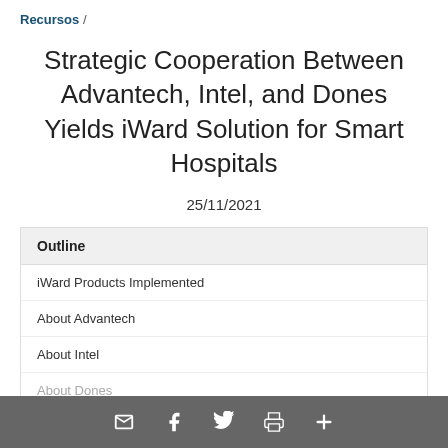Recursos /
Strategic Cooperation Between Advantech, Intel, and Dones Yields iWard Solution for Smart Hospitals
25/11/2021
Outline
iWard Products Implemented
About Advantech
About Intel
About Dones